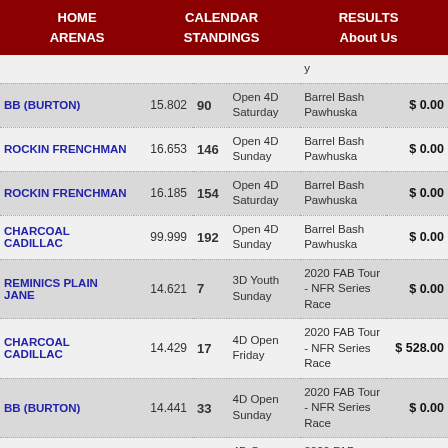HOME   ARENAS   CALENDAR   STANDINGS   RESULTS   About Us
| Horse | Time | Place | Class | Event | Money |
| --- | --- | --- | --- | --- | --- |
| BB (BURTON) | 15.802 | 90 | Open 4D Saturday | Barrel Bash Pawhuska | $ 0.00 |
| ROCKIN FRENCHMAN | 16.653 | 146 | Open 4D Sunday | Barrel Bash Pawhuska | $ 0.00 |
| ROCKIN FRENCHMAN | 16.185 | 154 | Open 4D Saturday | Barrel Bash Pawhuska | $ 0.00 |
| CHARCOAL CADILLAC | 99.999 | 192 | Open 4D Sunday | Barrel Bash Pawhuska | $ 0.00 |
| REMINICS PLAIN JANE | 14.621 | 7 | 3D Youth Sunday | 2020 FAB Tour - NFR Series Race | $ 0.00 |
| CHARCOAL CADILLAC | 14.429 | 17 | 4D Open Friday | 2020 FAB Tour - NFR Series Race | $ 528.00 |
| BB (BURTON) | 14.441 | 33 | 4D Open Sunday | 2020 FAB Tour - NFR Series Race | $ 0.00 |